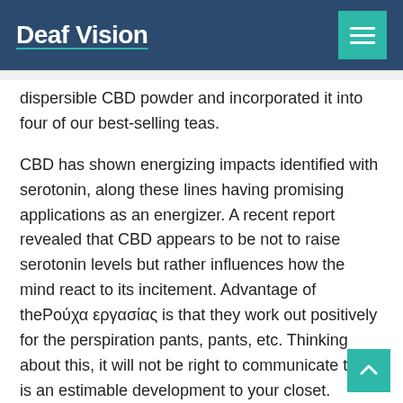Deaf Vision
dispersible CBD powder and incorporated it into four of our best-selling teas.
CBD has shown energizing impacts identified with serotonin, along these lines having promising applications as an energizer. A recent report revealed that CBD appears to be not to raise serotonin levels but rather influences how the mind react to its incitement. Advantage of theΡούχα εργασίας is that they work out positively for the perspiration pants, pants, etc. Thinking about this, it will not be right to communicate that it is an estimable development to your closet.
Currently, the town's talk is CBDfx Vape Juice, a